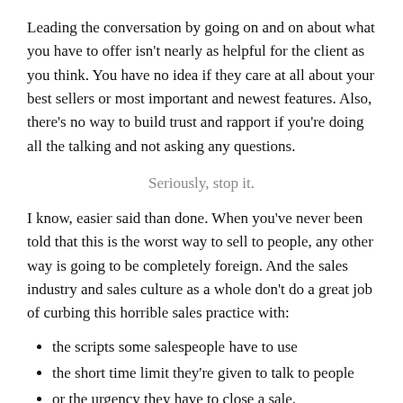Leading the conversation by going on and on about what you have to offer isn't nearly as helpful for the client as you think. You have no idea if they care at all about your best sellers or most important and newest features. Also, there's no way to build trust and rapport if you're doing all the talking and not asking any questions.
Seriously, stop it.
I know, easier said than done. When you've never been told that this is the worst way to sell to people, any other way is going to be completely foreign. And the sales industry and sales culture as a whole don't do a great job of curbing this horrible sales practice with:
the scripts some salespeople have to use
the short time limit they're given to talk to people
or the urgency they have to close a sale.